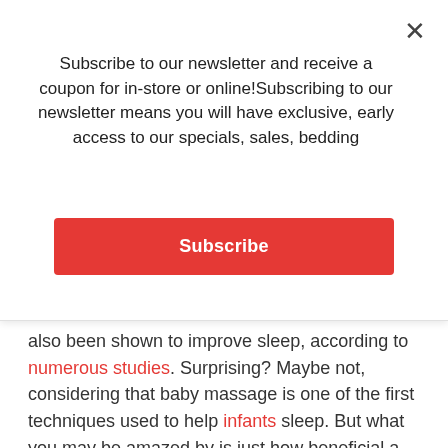Subscribe to our newsletter and receive a coupon for in-store or online!Subscribing to our newsletter means you will have exclusive, early access to our specials, sales, bedding
Subscribe
also been shown to improve sleep, according to numerous studies. Surprising? Maybe not, considering that baby massage is one of the first techniques used to help infants sleep. But what you may be amazed by is just how beneficial a little R&R on the massage table can be for your sleep.
It Helps You Relax.
If you're kept up at night worrying about financial problems, a rocky relationship, or other stressful issues, a massage may be the key to sounder sleep.